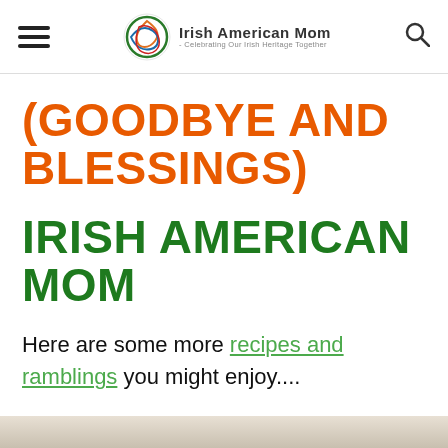Irish American Mom - Celebrating Our Irish Heritage Together
(GOODBYE AND BLESSINGS)
IRISH AMERICAN MOM
Here are some more recipes and ramblings you might enjoy....